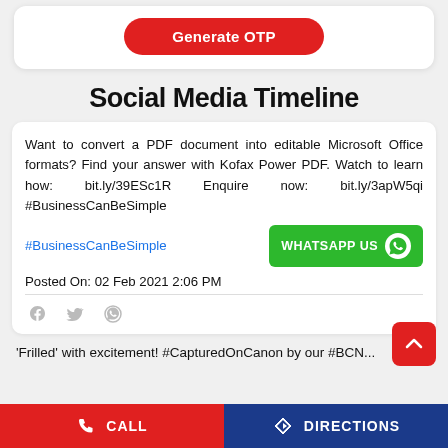[Figure (screenshot): Generate OTP button - red rounded button]
Social Media Timeline
Want to convert a PDF document into editable Microsoft Office formats? Find your answer with Kofax Power PDF. Watch to learn how: bit.ly/39ESc1R Enquire now: bit.ly/3apW5qi #BusinessCanBeSimple
#BusinessCanBeSimple
Posted On: 02 Feb 2021 2:06 PM
'Frilled' with excitement! #CapturedOnCanon by our #BCN...
CALL    DIRECTIONS